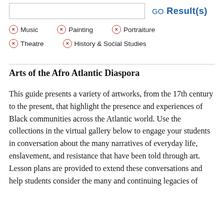GO Result(s)
× Music   × Painting   × Portraiture
× Theatre   × History & Social Studies
Arts of the Afro Atlantic Diaspora
This guide presents a variety of artworks, from the 17th century to the present, that highlight the presence and experiences of Black communities across the Atlantic world. Use the collections in the virtual gallery below to engage your students in conversation about the many narratives of everyday life, enslavement, and resistance that have been told through art. Lesson plans are provided to extend these conversations and help students consider the many and continuing legacies of